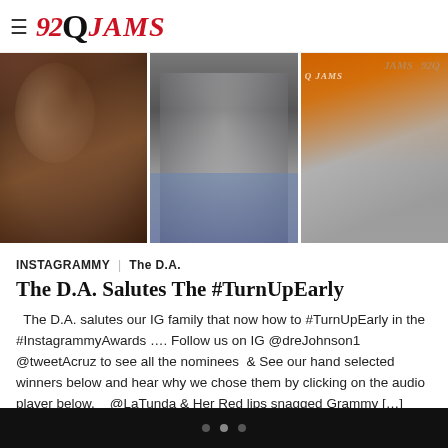92QJAMS
[Figure (photo): Three photos side by side: a woman with long dark hair smiling, a person in a white top with jeans, and a man in a grey hoodie and cap sitting in front of an orange 92Q JAMS backdrop.]
INSTAGRAMMY | The D.A.
The D.A. Salutes The #TurnUpEarly
The D.A. salutes our IG family that now how to #TurnUpEarly in the #InstagrammyAwards …. Follow us on IG @dreJohnson1 @tweetAcruz to see all the nominees  & See our hand selected winners below and hear why we chose them by clicking on the audio player below.   @LaTunda & Her Red lips snagged Grammy […]